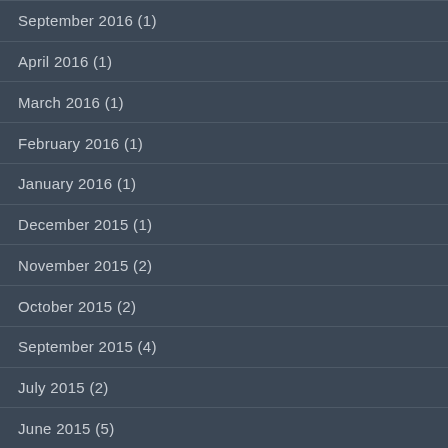September 2016 (1)
April 2016 (1)
March 2016 (1)
February 2016 (1)
January 2016 (1)
December 2015 (1)
November 2015 (2)
October 2015 (2)
September 2015 (4)
July 2015 (2)
June 2015 (5)